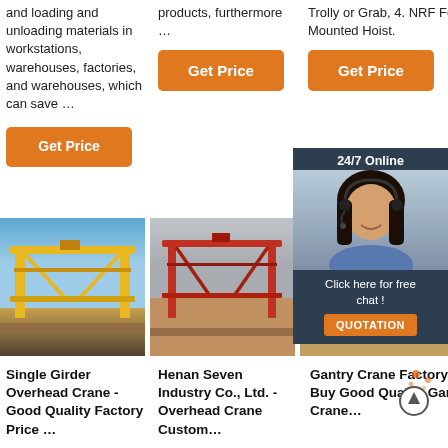and loading and unloading materials in workstations, warehouses, factories, and warehouses, which can save …
products, furthermore …
Trolly or Grab, 4. NRF Foot-Mounted Hoist.
[Figure (screenshot): Orange 'Get Price' button (column 2)]
[Figure (screenshot): Orange 'Get Price' button (column 3)]
[Figure (screenshot): Orange 'Get Price' button (column 1)]
[Figure (photo): Yellow single girder gantry crane outdoors against blue sky]
[Figure (photo): Red gantry crane structure outdoors]
[Figure (photo): Construction site with green scaffolding]
[Figure (screenshot): 24/7 Online chat overlay with woman wearing headset; Click here for free chat! QUOTATION button]
Single Girder Overhead Crane - Good Quality Factory Price …
Henan Seven Industry Co., Ltd. - Overhead Crane Custom…
Gantry Crane Factory, Buy Good Quality Gantry Crane…